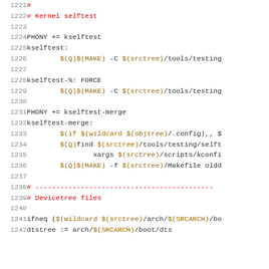1221  #
1222  # Kernel selftest
1223  
1224  PHONY += kselftest
1225  kselftest:
1226          $(Q)$(MAKE) -C $(srctree)/tools/testing
1227  
1228  kselftest-%: FORCE
1229          $(Q)$(MAKE) -C $(srctree)/tools/testing
1230  
1231  PHONY += kselftest-merge
1232  kselftest-merge:
1233          $(if $(wildcard $(objtree)/.config),, $
1234          $(Q)find $(srctree)/tools/testing/selft
1235                  xargs $(srctree)/scripts/kconfi
1236          $(Q)$(MAKE) -f $(srctree)/Makefile oldd
1237  
1238  # -------------------------------------------
1239  # Devicetree files
1240  
1241  ifneq ($(wildcard $(srctree)/arch/$(SRCARCH)/bo
1242  dtstree := arch/$(SRCARCH)/boot/dts